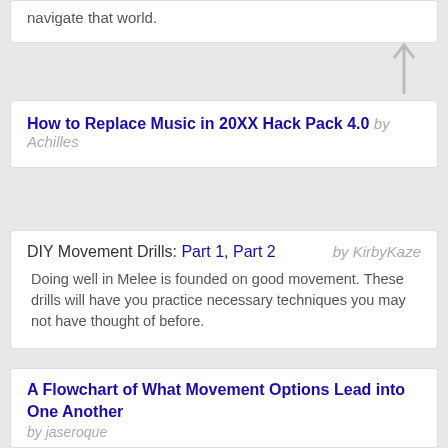navigate that world.
How to Replace Music in 20XX Hack Pack 4.0 by Achilles
DIY Movement Drills: Part 1, Part 2   by KirbyKaze
Doing well in Melee is founded on good movement. These drills will have you practice necessary techniques you may not have thought of before.
A Flowchart of What Movement Options Lead into One Another
by jaseroque
This shows which moves and movement options can be performed from other options. This is useful for